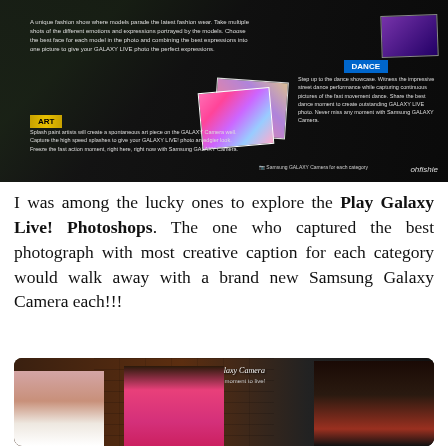[Figure (photo): Photo of a dark promotional display board showing Samsung Galaxy Camera event categories: Fashion, Art, and Dance sections with descriptive text and images. Art section has gold badge. Dance section has blue badge. Camera icon and ohfishie watermark visible.]
I was among the lucky ones to explore the Play Galaxy Live! Photoshops. The one who captured the best photograph with most creative caption for each category would walk away with a brand new Samsung Galaxy Camera each!!!
[Figure (photo): Photo of three women at a Samsung Galaxy Camera event. Text sign reads 'Samsung Galaxy Camera - Brings the best moment to live!' in cursive. Woman on left wears white, center woman wears pink with feathered headpiece, woman on right wears dark attire. Brick wall background.]